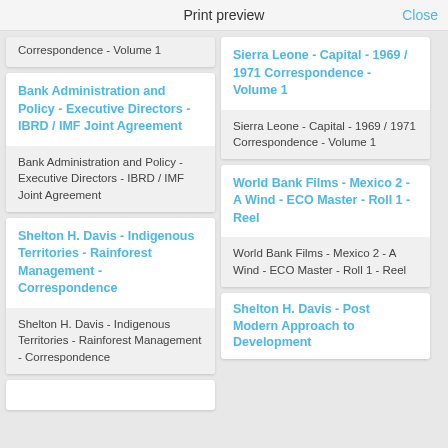Print preview  Close
Correspondence - Volume 1
Bank Administration and Policy - Executive Directors - IBRD / IMF Joint Agreement
Bank Administration and Policy - Executive Directors - IBRD / IMF Joint Agreement
Sierra Leone - Capital - 1969 / 1971 Correspondence - Volume 1
Sierra Leone - Capital - 1969 / 1971 Correspondence - Volume 1
Shelton H. Davis - Indigenous Territories - Rainforest Management - Correspondence
Shelton H. Davis - Indigenous Territories - Rainforest Management - Correspondence
World Bank Films - Mexico 2 - A Wind - ECO Master - Roll 1 - Reel
World Bank Films - Mexico 2 - A Wind - ECO Master - Roll 1 - Reel
Shelton H. Davis - Post Modern Approach to Development